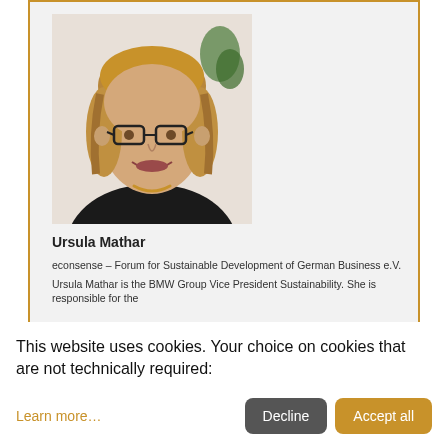[Figure (photo): Professional headshot of Ursula Mathar, a woman with shoulder-length blonde hair and glasses, wearing a black blazer and necklace, smiling at the camera against a light background.]
Ursula Mathar
econsense – Forum for Sustainable Development of German Business e.V.
Ursula Mathar is the BMW Group Vice President Sustainability. She is responsible for the
This website uses cookies. Your choice on cookies that are not technically required:
Learn more...
Decline
Accept all